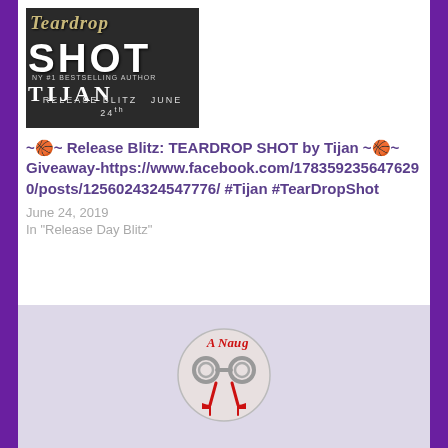[Figure (photo): Book cover for Teardrop Shot by Tijan showing dark background with stylized text. Says 'Teardrop SHOT' and 'TIJAN', 'RELEASE BLITZ']
~🏀~ Release Blitz: TEARDROP SHOT by Tijan ~🏀~ Giveaway- https://www.facebook.com/1783592356476​29/posts/12560243245477​76/ #Tijan #TearDropShot
June 24, 2019
In "Release Day Blitz"
[Figure (logo): A Naughty logo with handcuffs and woman's legs in red heels, circular design]